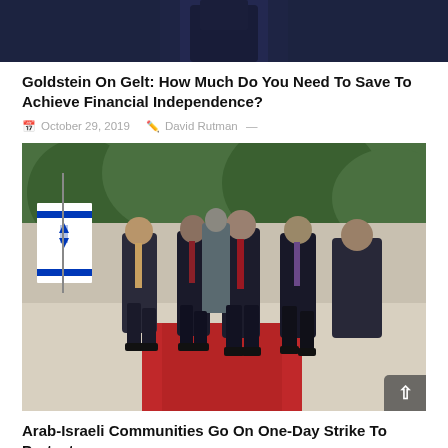[Figure (photo): Top portion of a person in a dark suit, cropped showing torso only, dark navy background.]
Goldstein On Gelt: How Much Do You Need To Save To Achieve Financial Independence?
October 29, 2019   David Rutman  —
[Figure (photo): Group of men in dark suits walking on a red carpet with an Israeli flag visible on the left side, outdoors with green trees in background.]
Arab-Israeli Communities Go On One-Day Strike To Protest